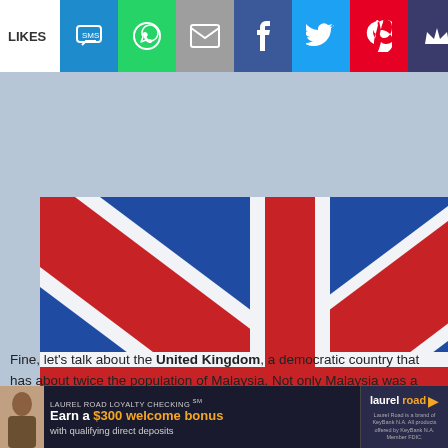LIKES | SMS | WhatsApp | Email | Facebook | Twitter | Pinterest | Crown
[Figure (photo): Union Jack flag waving with Big Ben clock tower in background, blurred/bokeh style photograph]
Fine, let's talk about the United Kingdom, a democratic country that has about twice the population of Malaysia. Not only Malaysia was a former colony of the British Empire from 1824 to 1957 (except during the Japanese occupation between [CLOSE] and 1945), the country also shares the same constitutional monarchy and parliamentary
[Figure (infographic): Advertisement banner: Laurel Road Loyalty Checking. Earn a $300 welcome bonus with qualifying direct deposits. Laurel Road is a brand of KeyBank. KeyBank N.A. Member FDIC.]